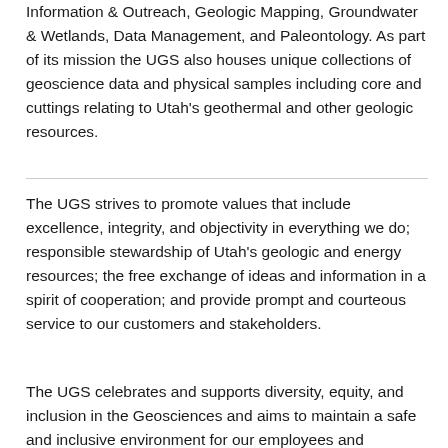Information & Outreach, Geologic Mapping, Groundwater & Wetlands, Data Management, and Paleontology. As part of its mission the UGS also houses unique collections of geoscience data and physical samples including core and cuttings relating to Utah's geothermal and other geologic resources.
The UGS strives to promote values that include excellence, integrity, and objectivity in everything we do; responsible stewardship of Utah's geologic and energy resources; the free exchange of ideas and information in a spirit of cooperation; and provide prompt and courteous service to our customers and stakeholders.
The UGS celebrates and supports diversity, equity, and inclusion in the Geosciences and aims to maintain a safe and inclusive environment for our employees and